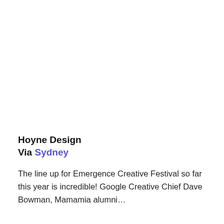Hoyne Design
Via Sydney
The line up for Emergence Creative Festival so far this year is incredible! Google Creative Chief Dave Bowman, Mamamia alumni…